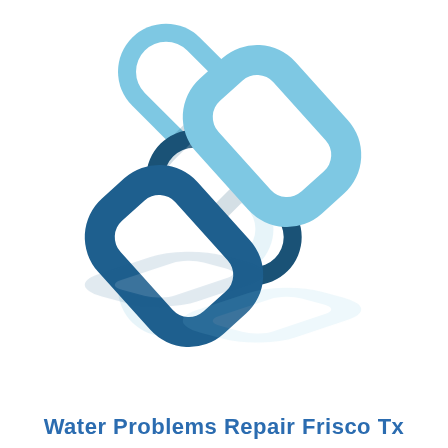[Figure (logo): A chain link icon logo showing two interlocking chain links. The upper-right link is light blue, the lower-left link is dark blue/navy. The icon is tilted diagonally and has a reflection/shadow beneath it in light gray.]
Water Problems Repair Frisco Tx